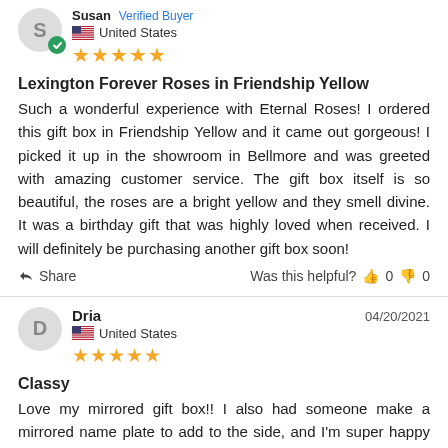S — Verified Buyer, United States, 5 stars
Lexington Forever Roses in Friendship Yellow
Such a wonderful experience with Eternal Roses! I ordered this gift box in Friendship Yellow and it came out gorgeous! I picked it up in the showroom in Bellmore and was greeted with amazing customer service. The gift box itself is so beautiful, the roses are a bright yellow and they smell divine. It was a birthday gift that was highly loved when received. I will definitely be purchasing another gift box soon!
Share   Was this helpful? 👍 0 👎 0
Dria — 04/20/2021, United States, 5 stars
Classy
Love my mirrored gift box!! I also had someone make a mirrored name plate to add to the side, and I'm super happy with the results!